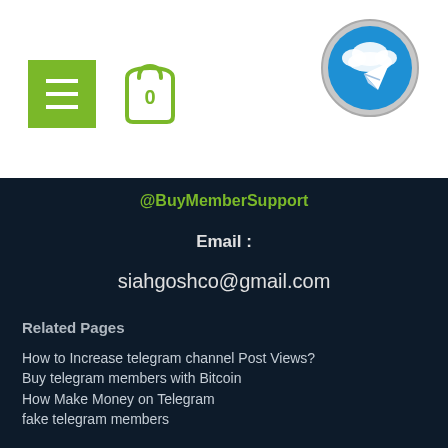[Figure (logo): Green menu button with three horizontal lines and shopping cart icon with 0, plus circular Telegram logo on the right]
@BuyMemberSupport
Email :
siahgoshco@gmail.com
Related Pages
How to Increase telegram channel Post Views?
Buy telegram members with Bitcoin
How Make Money on Telegram
fake telegram members